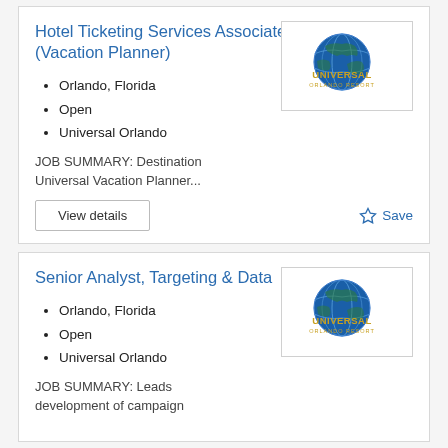Hotel Ticketing Services Associate (Vacation Planner)
Orlando, Florida
Open
Universal Orlando
[Figure (logo): Universal Orlando Resort logo with blue globe and gold text]
JOB SUMMARY: Destination Universal Vacation Planner...
View details
Save
Senior Analyst, Targeting & Data
Orlando, Florida
Open
Universal Orlando
[Figure (logo): Universal Orlando Resort logo with blue globe and gold text]
JOB SUMMARY: Leads development of campaign